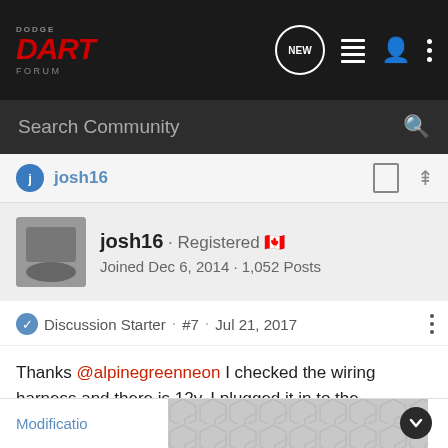[Figure (logo): Dodge Dart Forum logo in red italic font on dark background]
Search Community
josh16
josh16 · Registered
Joined Dec 6, 2014 · 1,052 Posts
Discussion Starter · #7 · Jul 21, 2017
Thanks @alpinegreenneon I checked the wiring harness and there is 12v. I plugged it in to the racetrack plug and verified it was getting power. I guess it's safe to say the racetrack is dead. Thanks everyone for their suggestions
Modificatio